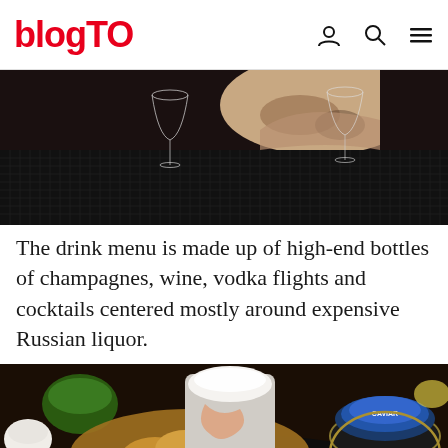blogTO
[Figure (photo): Bar scene with tattooed bartender's arm visible, two wine glasses on a dark textured bar mat]
The drink menu is made up of high-end bottles of champagnes, wine, vodka flights and cocktails centered mostly around expensive Russian liquor.
[Figure (photo): Food scene showing blini/crackers, a white cream cocktail in a glass, open caviar tin with blue lid, and small sauce bowls on a dark surface; an advertisement for VoxBox overlaid at bottom reading C'MON DOWN & SPEND YOUR... AND VoxBox SING·PLAY·HINT CONFESS· SELL... 70 Jefferson Avenue in Liberty Village]
C'MON DOWN & SPEND YOUR... AND VoxBox SING·PLAY·HINT CONFESS· SELL... 70 Jefferson Avenue in Liberty Village